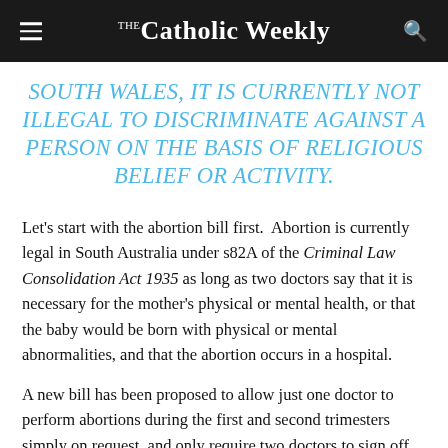The Catholic Weekly
SOUTH WALES, IT IS CURRENTLY NOT ILLEGAL TO DISCRIMINATE AGAINST A PERSON ON THE BASIS OF RELIGIOUS BELIEF OR ACTIVITY.
Let's start with the abortion bill first.  Abortion is currently legal in South Australia under s82A of the Criminal Law Consolidation Act 1935 as long as two doctors say that it is necessary for the mother's physical or mental health, or that the baby would be born with physical or mental abnormalities, and that the abortion occurs in a hospital.
A new bill has been proposed to allow just one doctor to perform abortions during the first and second trimesters simply on request, and only require two doctors to sign off